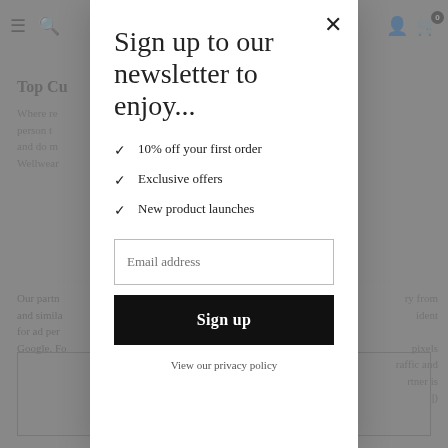[Figure (screenshot): Website page background showing navigation bar with hamburger, search, user, and cart icons, partially visible page content including 'Top Cu...' heading, body text starting with 'Where re...', 'Our partn...' text, and bordered boxes at bottom, all dimmed by modal overlay]
Sign up to our newsletter to enjoy...
10% off your first order
Exclusive offers
New product launches
Email address
Sign up
View our privacy policy